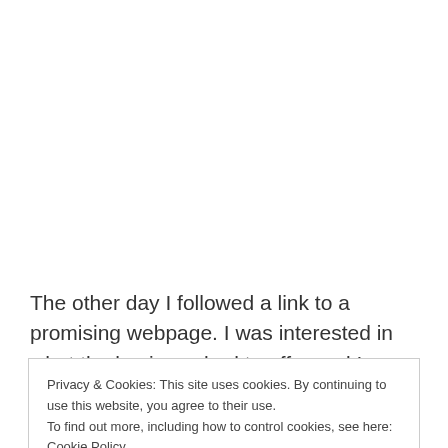The other day I followed a link to a promising webpage. I was interested in what the business had to offer and I
Privacy & Cookies: This site uses cookies. By continuing to use this website, you agree to their use.
To find out more, including how to control cookies, see here: Cookie Policy
[Close and accept]